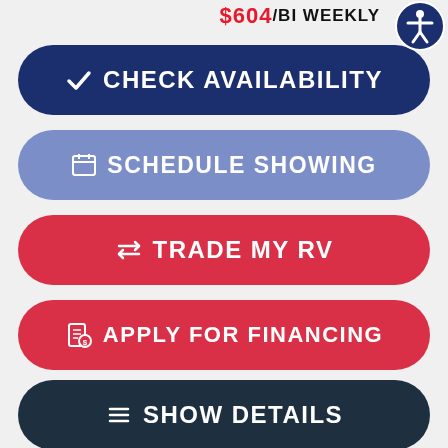$604/BI WEEKLY
CHECK AVAILABILITY
SCHEDULE SHOWING
TRADE MY RV
APPLY FOR FINANCING
SHOW DETAILS
Have a question? Text us here!
LOCATION: COWICHAN VALLEY
SLIDEOUTS: 3
Text us!